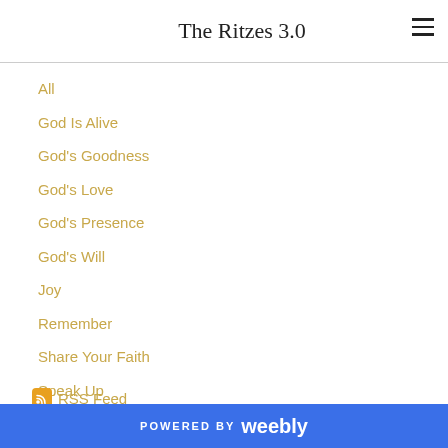The Ritzes 3.0
All
God Is Alive
God's Goodness
God's Love
God's Presence
God's Will
Joy
Remember
Share Your Faith
Speak Up
RSS Feed
POWERED BY weebly